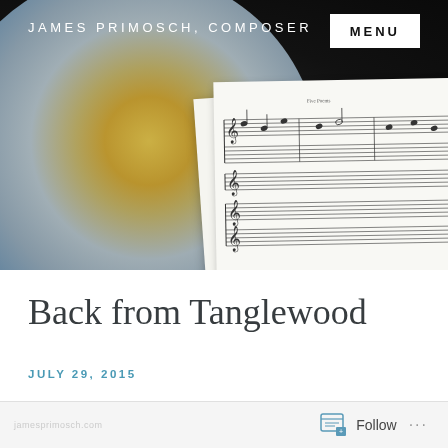JAMES PRIMOSCH, COMPOSER
[Figure (photo): Header photo showing a colorful globe/orb and music sheet score pages against a dark background]
Back from Tanglewood
JULY 29, 2015
Follow ...